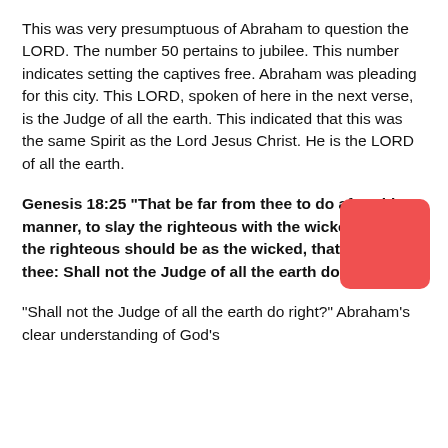This was very presumptuous of Abraham to question the LORD. The number 50 pertains to jubilee. This number indicates setting the captives free. Abraham was pleading for this city. This LORD, spoken of here in the next verse, is the Judge of all the earth. This indicated that this was the same Spirit as the Lord Jesus Christ. He is the LORD of all the earth.
Genesis 18:25 “That be far from thee to do after this manner, to slay the righteous with the wicked: and that the righteous should be as the wicked, that be far from thee: Shall not the Judge of all the earth do right?”
“Shall not the Judge of all the earth do right?” Abraham’s clear understanding of God’s